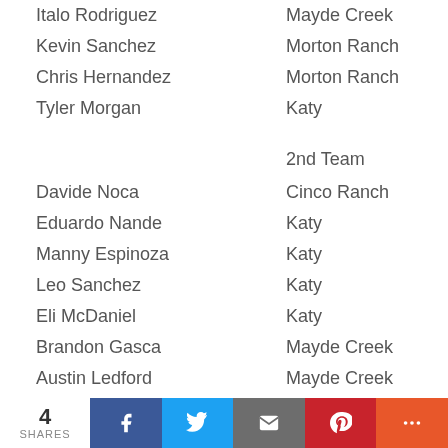Italo Rodriguez	Mayde Creek
Kevin Sanchez	Morton Ranch
Chris Hernandez	Morton Ranch
Tyler Morgan	Katy
2nd Team
Davide Noca	Cinco Ranch
Eduardo Nande	Katy
Manny Espinoza	Katy
Leo Sanchez	Katy
Eli McDaniel	Katy
Brandon Gasca	Mayde Creek
Austin Ledford	Mayde Creek
Cecilio Rosales	Mayde Creek